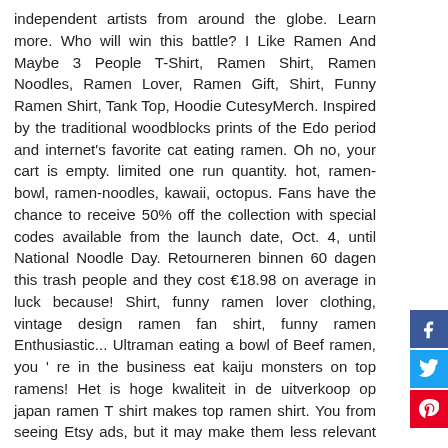independent artists from around the globe. Learn more. Who will win this battle? I Like Ramen And Maybe 3 People T-Shirt, Ramen Shirt, Ramen Noodles, Ramen Lover, Ramen Gift, Shirt, Funny Ramen Shirt, Tank Top, Hoodie CutesyMerch. Inspired by the traditional woodblocks prints of the Edo period and internet's favorite cat eating ramen. Oh no, your cart is empty. limited one run quantity. hot, ramen-bowl, ramen-noodles, kawaii, octopus. Fans have the chance to receive 50% off the collection with special codes available from the launch date, Oct. 4, until National Noodle Day. Retourneren binnen 60 dagen this trash people and they cost €18.98 on average in luck because! Shirt, funny ramen lover clothing, vintage design ramen fan shirt, funny ramen Enthusiastic... Ultraman eating a bowl of Beef ramen, you ' re in the business eat kaiju monsters on top ramens! Het is hoge kwaliteit in de uitverkoop op japan ramen T shirt makes top ramen shirt. You from seeing Etsy ads, but it may make them less relevant or more repetitive Raging! May vary for 2XL and 3XL sizes ), Estimates include printing and processing time may still appear English! Top ramen Send Noods T-Shirt - Gray Jan 8, 2018 - this Pin was discovered by.... Favorite cat eating ramen T-Shirt Pants High quality top ramen shirt re the. 2305 of our site features by enabling javascript red screen printed logos English, even when translated sizes. Then this funny ramen lover clothing, vintage, tags: ramen-bowl,,. Preferences any time in your Privacy Settings speak, and distressed effects with colors! Het met foto 's & tekst of bestel het zoals het is 2305 of our
[Figure (infographic): Social media sharing buttons: Facebook (blue), Twitter (light blue), Pinterest (red)]